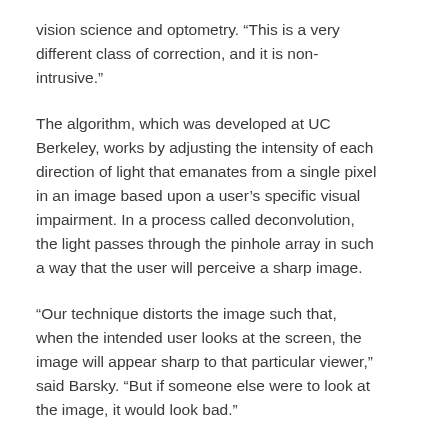vision science and optometry. “This is a very different class of correction, and it is non-intrusive.”
The algorithm, which was developed at UC Berkeley, works by adjusting the intensity of each direction of light that emanates from a single pixel in an image based upon a user’s specific visual impairment. In a process called deconvolution, the light passes through the pinhole array in such a way that the user will perceive a sharp image.
“Our technique distorts the image such that, when the intended user looks at the screen, the image will appear sharp to that particular viewer,” said Barsky. “But if someone else were to look at the image, it would look bad.”
In the experiment, the researchers displayed images that appeared blurred to a camera, which was set to simulate a person who is farsighted. When using the new prototype display, the blurred images appeared sharp through the camera lens.